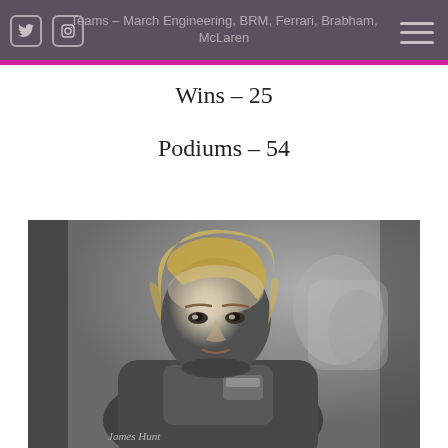Teams – March Engineering, BRM, Ferrari, Brabham, McLaren
Wins – 25
Podiums – 54
[Figure (photo): Black and white photograph of a young racing driver with shaggy blond hair, wearing a racing suit with a Marlboro patch, looking directly at the camera. Crowd visible in the background.]